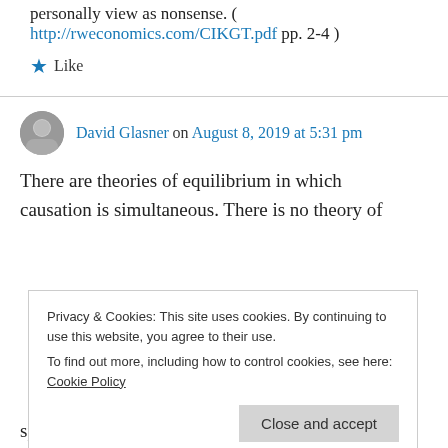personally view as nonsense. ( http://rweconomics.com/CIKGT.pdf pp. 2-4 )
★ Like
David Glasner on August 8, 2019 at 5:31 pm
There are theories of equilibrium in which causation is simultaneous. There is no theory of
Privacy & Cookies: This site uses cookies. By continuing to use this website, you agree to their use.
To find out more, including how to control cookies, see here: Cookie Policy
Close and accept
special insight into the sequence of change. His